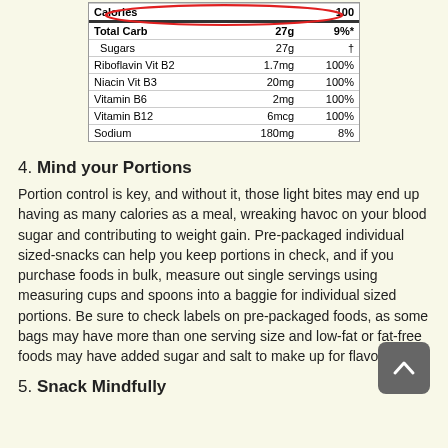[Figure (table-as-image): Nutrition facts label showing Calories 100, Total Carb 27g 9%*, Sugars 27g †, Riboflavin Vit B2 1.7mg 100%, Niacin Vit B3 20mg 100%, Vitamin B6 2mg 100%, Vitamin B12 6mcg 100%, Sodium 180mg 8%. A red oval highlights the Calories row.]
4. Mind your Portions
Portion control is key, and without it, those light bites may end up having as many calories as a meal, wreaking havoc on your blood sugar and contributing to weight gain. Pre-packaged individual sized-snacks can help you keep portions in check, and if you purchase foods in bulk, measure out single servings using measuring cups and spoons into a baggie for individual sized portions. Be sure to check labels on pre-packaged foods, as some bags may have more than one serving size and low-fat or fat-free foods may have added sugar and salt to make up for flavor.
5. Snack Mindfully